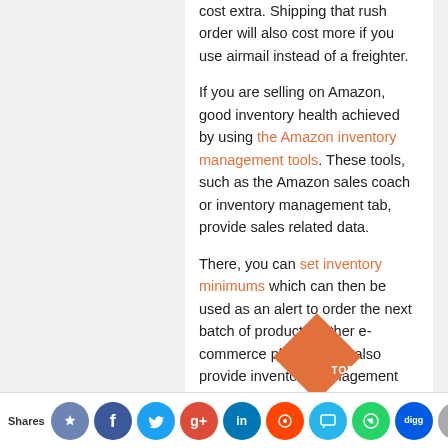cost extra. Shipping that rush order will also cost more if you use airmail instead of a freighter.
If you are selling on Amazon, good inventory health achieved by using the Amazon inventory management tools. These tools, such as the Amazon sales coach or inventory management tab, provide sales related data.
There, you can set inventory minimums which can then be used as an alert to order the next batch of products. Other e-commerce platforms do also provide inventory management tools. Master these tools and read all the sales reports and sales projections for each listed product. These reports provide an accurate estimate of how many units should be ordered for each product for the next reorder.
Shares [social share icons: like, Facebook, Twitter, Google+, LinkedIn, Reddit, chat, WhatsApp, Digg, mail, crown]